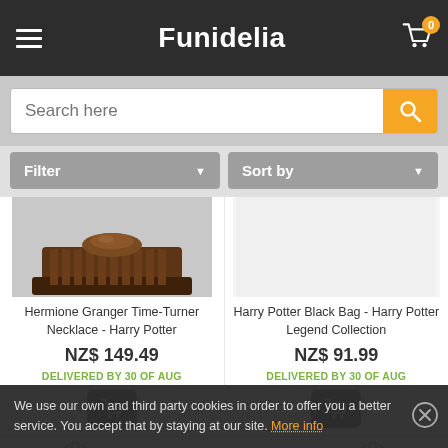Funidelia
Search here
Filter | Sort by
[Figure (photo): Product image of Hermione Granger Time-Turner Necklace - Harry Potter, showing a decorative necklace on a dark brown pedestal/stand]
Hermione Granger Time-Turner Necklace - Harry Potter
NZ$ 149.49
DELIVERED BY 30 OF AUG
Harry Potter Black Bag - Harry Potter Legend Collection
NZ$ 91.99
DELIVERED BY 30 OF AUG
We use our own and third party cookies in order to offer you a better service. You accept that by staying at our site. More info